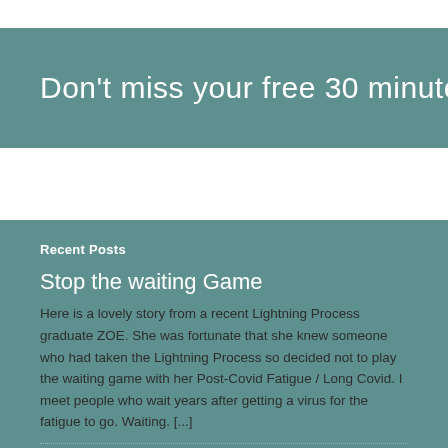Don't miss your free 30 minute cons
Recent Posts
Stop the waiting Game
Here is a lovely story from a recent Lightning Process graduate ZOE. She was fortunate that she knew someone who had taken the Lightning Process so decided not to play the waiting game with her Post-Covid Fatigue / Long Covid. I meet people who wait years after getting a virus for the fatigue to go. Waiting. [...]